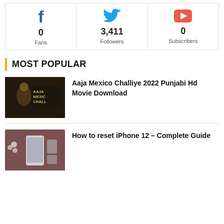[Figure (infographic): Social media stats bar with Facebook (0 Fans), Twitter (3,411 Followers), YouTube (0 Subscribers)]
MOST POPULAR
[Figure (photo): Movie poster thumbnail for Aaja Mexico Challiye 2022]
Aaja Mexico Challiye 2022 Punjabi Hd Movie Download
[Figure (photo): iPhone 12 on brown background with flowers]
How to reset iPhone 12 – Complete Guide